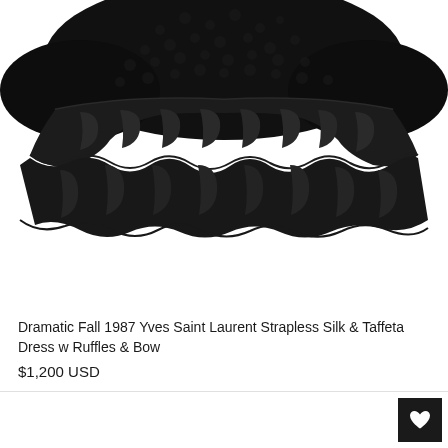[Figure (photo): Close-up photo of a black dress bottom portion showing tiered ruffles. The top portion has black textured/boucle fabric with gathered silk or taffeta ruffles below arranged in two tiers. The garment is photographed against a white background.]
Dramatic Fall 1987 Yves Saint Laurent Strapless Silk & Taffeta Dress w Ruffles & Bow
$1,200 USD